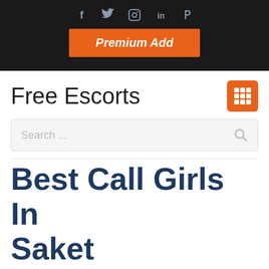f  Twitter  Instagram  in  Pinterest
[Figure (screenshot): Orange Premium Add button on dark header bar]
Free Escorts
Search ...
Best Call Girls In Saket 84480~79011 Escort SErvice In